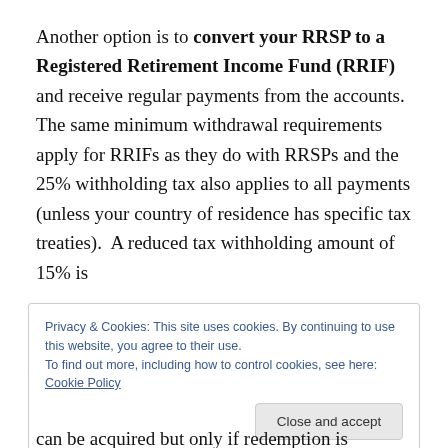Another option is to convert your RRSP to a Registered Retirement Income Fund (RRIF) and receive regular payments from the accounts.  The same minimum withdrawal requirements apply for RRIFs as they do with RRSPs and the 25% withholding tax also applies to all payments (unless your country of residence has specific tax treaties).  A reduced tax withholding amount of 15% is
Privacy & Cookies: This site uses cookies. By continuing to use this website, you agree to their use.
To find out more, including how to control cookies, see here: Cookie Policy
[Close and accept]
can be acquired but only if redemption is scheduled for